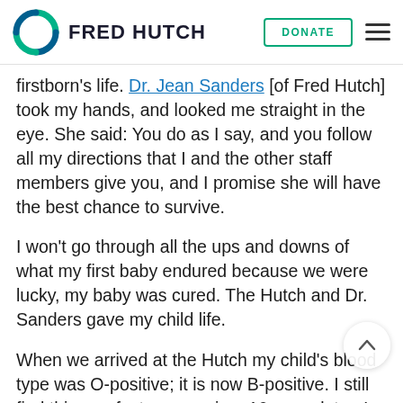FRED HUTCH | DONATE
firstborn's life. Dr. Jean Sanders [of Fred Hutch] took my hands, and looked me straight in the eye. She said: You do as I say, and you follow all my directions that I and the other staff members give you, and I promise she will have the best chance to survive.
I won't go through all the ups and downs of what my first baby endured because we were lucky, my baby was cured. The Hutch and Dr. Sanders gave my child life.
When we arrived at the Hutch my child's blood type was O-positive; it is now B-positive. I still find this one fact so amazing, 16 years later. I do not know